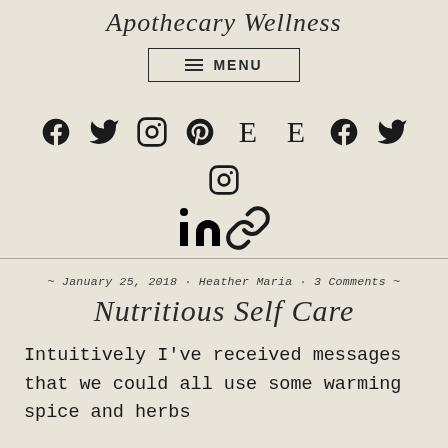Apothecary Wellness
[Figure (infographic): Menu button with hamburger icon lines and text MENU inside a rectangular border]
[Figure (infographic): Row of social media icons: Facebook, Twitter, Instagram, Pinterest, Etsy (E), Etsy (E), Facebook, Twitter, Instagram; second row: LinkedIn, chain link]
~ January 25, 2018 · Heather Maria · 3 Comments ~
Nutritious Self Care
Intuitively I've received messages that we could all use some warming spice and herbs